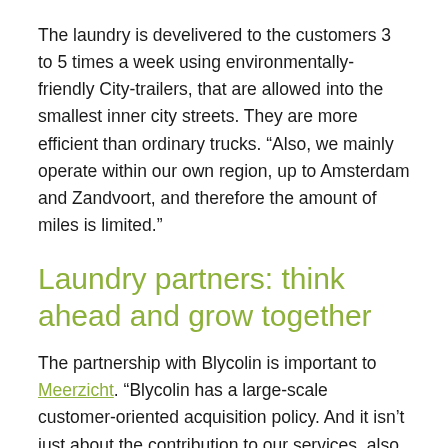The laundry is develivered to the customers 3 to 5 times a week using environmentally-friendly City-trailers, that are allowed into the smallest inner city streets. They are more efficient than ordinary trucks. “Also, we mainly operate within our own region, up to Amsterdam and Zandvoort, and therefore the amount of miles is limited.”
Laundry partners: think ahead and grow together
The partnership with Blycolin is important to Meerzicht. “Blycolin has a large-scale customer-oriented acquisition policy. And it isn’t just about the contribution to our services, also the input of